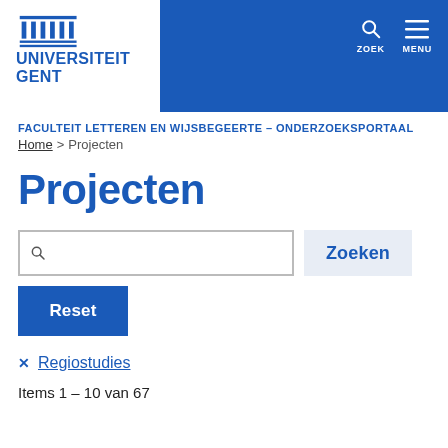[Figure (logo): Universiteit Gent logo with pillar/temple icon and text UNIVERSITEIT GENT in blue]
FACULTEIT LETTEREN EN WIJSBEGEERTE - ONDERZOEKSPORTAAL
Home > Projecten
Projecten
Search input with Zoeken button
Reset
✕ Regiostudies
Items 1 - 10 van 67